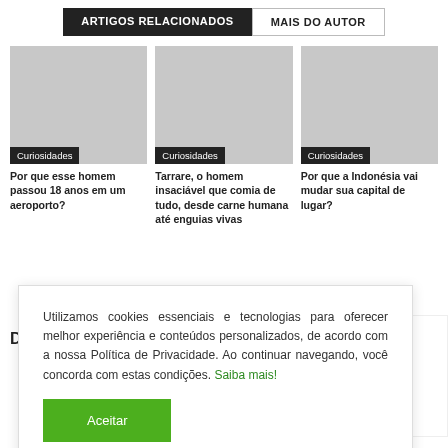ARTIGOS RELACIONADOS | MAIS DO AUTOR
[Figure (screenshot): Three article cards with gray placeholder images, each labeled Curiosidades]
Por que esse homem passou 18 anos em um aeroporto?
Tarrare, o homem insaciável que comia de tudo, desde carne humana até enguias vivas
Por que a Indonésia vai mudar sua capital de lugar?
Utilizamos cookies essenciais e tecnologias para oferecer melhor experiência e conteúdos personalizados, de acordo com a nossa Política de Privacidade. Ao continuar navegando, você concorda com estas condições. Saiba mais!